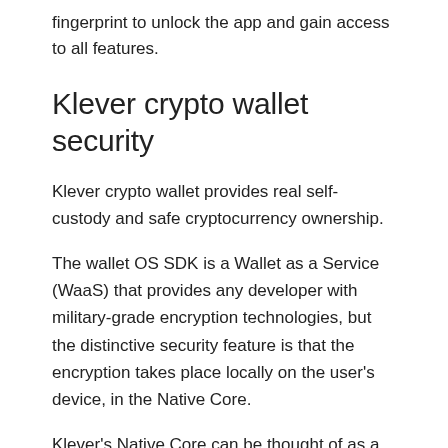fingerprint to unlock the app and gain access to all features.
Klever crypto wallet security
Klever crypto wallet provides real self-custody and safe cryptocurrency ownership.
The wallet OS SDK is a Wallet as a Service (WaaS) that provides any developer with military-grade encryption technologies, but the distinctive security feature is that the encryption takes place locally on the user's device, in the Native Core.
Klever's Native Core can be thought of as a Black Box inside Klever OS, and while it can communicate